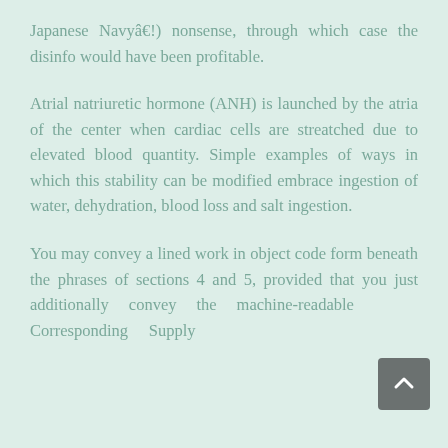Japanese Navyâ€”!) nonsense, through which case the disinfo would have been profitable.
Atrial natriuretic hormone (ANH) is launched by the atria of the center when cardiac cells are streatched due to elevated blood quantity. Simple examples of ways in which this stability can be modified embrace ingestion of water, dehydration, blood loss and salt ingestion.
You may convey a lined work in object code form beneath the phrases of sections 4 and 5, provided that you just additionally convey the machine-readable Corresponding Supply